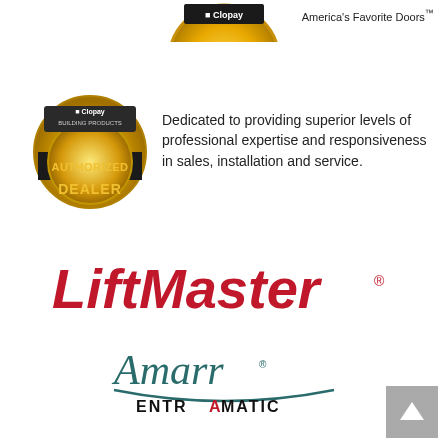[Figure (logo): Partial gold/yellow circular badge or seal at top center, partially cropped]
America's Favorite Doors™
[Figure (logo): Clopay Authorized Dealer gold badge/medallion logo]
Dedicated to providing superior levels of professional expertise and responsiveness in sales, installation and service.
[Figure (logo): LiftMaster logo in red bold italic text with registered trademark symbol]
[Figure (logo): Amarr Entrematic logo with stylized script Amarr text and arc underline, ENTREMATIC in sans-serif below]